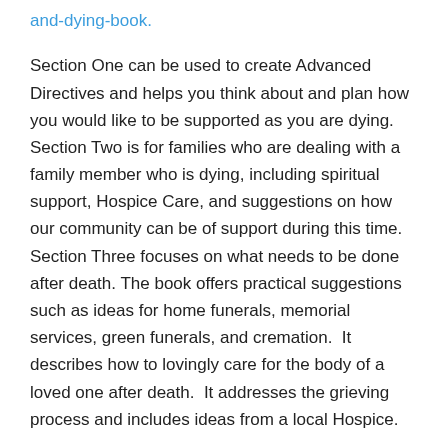and-dying-book.
Section One can be used to create Advanced Directives and helps you think about and plan how you would like to be supported as you are dying. Section Two is for families who are dealing with a family member who is dying, including spiritual support, Hospice Care, and suggestions on how our community can be of support during this time. Section Three focuses on what needs to be done after death. The book offers practical suggestions such as ideas for home funerals, memorial services, green funerals, and cremation.  It describes how to lovingly care for the body of a loved one after death.  It addresses the grieving process and includes ideas from a local Hospice.